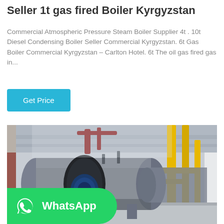Seller 1t gas fired Boiler Kyrgyzstan
Commercial Atmospheric Pressure Steam Boiler Supplier 4t . 10t Diesel Condensing Boiler Seller Commercial Kyrgyzstan. 6t Gas Boiler Commercial Kyrgyzstan – Carlton Hotel. 6t The oil gas fired gas in...
[Figure (photo): Industrial gas-fired boiler installation in a factory setting, showing a large horizontal steel boiler with blue motor assembly, yellow gas pipes, red overhead pipework, and concrete floor.]
[Figure (logo): WhatsApp contact button with green background, WhatsApp phone icon in white, and 'WhatsApp' text in white bold font.]